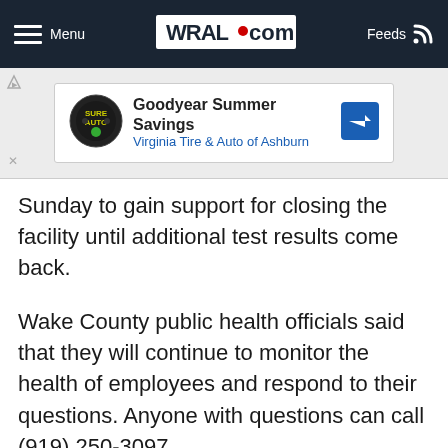Menu | WRAL.com | Feeds
[Figure (other): Advertisement banner for Goodyear Summer Savings at Virginia Tire & Auto of Ashburn]
Sunday to gain support for closing the facility until additional test results come back.
Wake County public health officials said that they will continue to monitor the health of employees and respond to their questions. Anyone with questions can call (919) 250-3097.